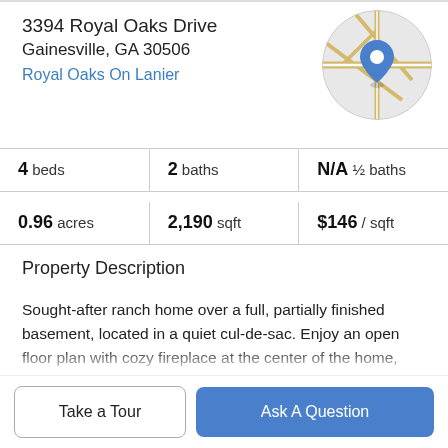3394 Royal Oaks Drive
Gainesville, GA 30506
Royal Oaks On Lanier
[Figure (map): Circular map thumbnail showing street map with a blue location pin marker]
4 beds | 2 baths | N/A ½ baths | 0.96 acres | 2,190 sqft | $146 / sqft
Property Description
Sought-after ranch home over a full, partially finished basement, located in a quiet cul-de-sac. Enjoy an open floor plan with cozy fireplace at the center of the home, master suite on main level, and upgraded lighting found throughout. The vaulted ceilings in the living room, master